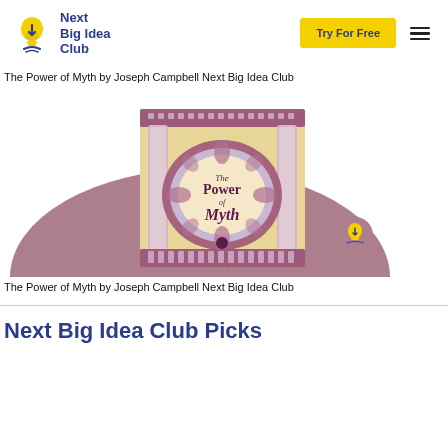Next Big Idea Club — Try For Free navigation header
The Power of Myth by Joseph Campbell Next Big Idea Club
[Figure (illustration): Book cover illustration for 'The Power of Myth' by Joseph Campbell, showing an ornate mandala-style frame with Greek columns, a figure in motion, cream/gold and purple tones, on a mauve semicircle background with a Next Big Idea Club logo icon.]
The Power of Myth by Joseph Campbell Next Big Idea Club
Next Big Idea Club Picks